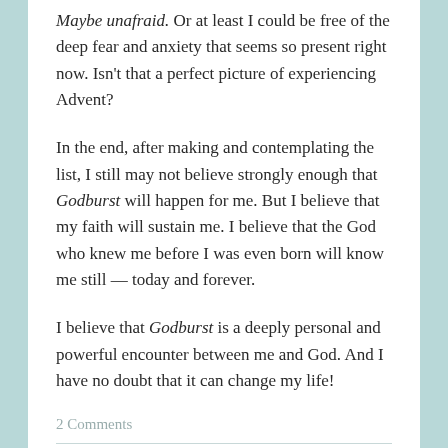Maybe unafraid. Or at least I could be free of the deep fear and anxiety that seems so present right now. Isn't that a perfect picture of experiencing Advent?
In the end, after making and contemplating the list, I still may not believe strongly enough that Godburst will happen for me. But I believe that my faith will sustain me. I believe that the God who knew me before I was even born will know me still — today and forever.
I believe that Godburst is a deeply personal and powerful encounter between me and God. And I have no doubt that it can change my life!
2 Comments